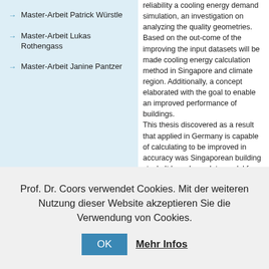Master-Arbeit Patrick Würstle
Master-Arbeit Lukas Rothengass
Master-Arbeit Janine Pantzer
reliability a cooling energy demand simulation, an investigation on analyzing the quality geometries. Based on the out-come of the improving the input datasets will be made cooling energy calculation method in Singapore and climate region. Additionally, a concept elaborated with the goal to enable an improved performance of buildings. This thesis discovered as a result that applied in Germany is capable of calculating to be improved in accuracy were Singaporean building stock. It has also data model for storing the needed input to consolidate information in a comprehensive
download thesis
[Figure (screenshot): Social media sidebar with Twitter, RSS, YouTube, and email icons on a teal/blue background]
Prof. Dr. Coors verwendet Cookies. Mit der weiteren Nutzung dieser Website akzeptieren Sie die Verwendung von Cookies.
OK
Mehr Infos